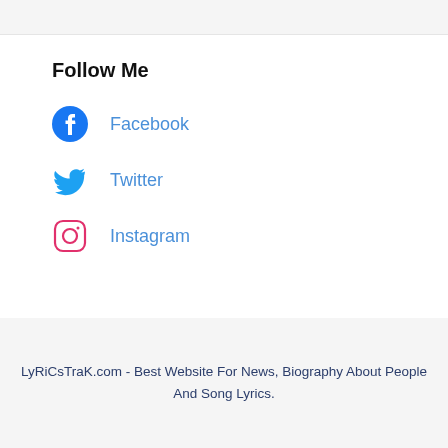Follow Me
Facebook
Twitter
Instagram
LyRiCsTraK.com - Best Website For News, Biography About People And Song Lyrics.